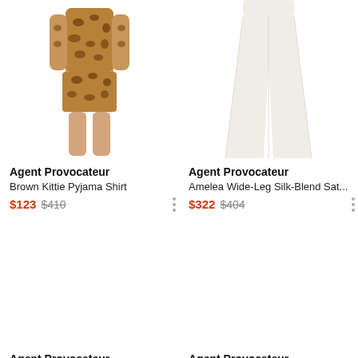[Figure (photo): Product photo of Agent Provocateur Brown Kittie Pyjama Shirt – leopard print top and shorts on a model, cropped at torso]
Agent Provocateur
Brown Kittie Pyjama Shirt
$123 $410
[Figure (photo): Product photo of Agent Provocateur Amelea Wide-Leg Silk-Blend Sat... – cream/white wide-leg trousers on a model, cropped at lower body]
Agent Provocateur
Amelea Wide-Leg Silk-Blend Sat...
$322 $404
[Figure (photo): Product photo of Agent Provocateur Black Classic PJ Robe – image area appears white/blank (loading or not visible)]
Agent Provocateur
Black Classic PJ Robe
[Figure (photo): Product photo of Agent Provocateur Black Gisele Robe – image area appears white/blank (loading or not visible)]
Agent Provocateur
Black Gisele Robe